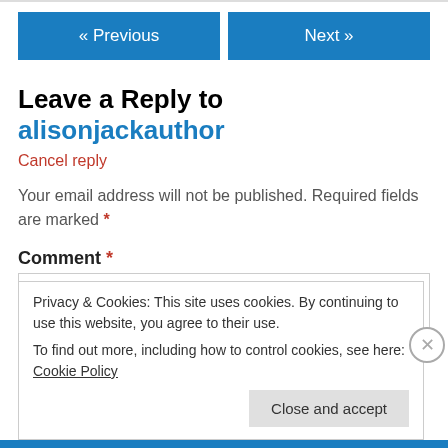[Figure (other): Navigation buttons row with « Previous and Next » blue buttons]
Leave a Reply to alisonjackauthor
Cancel reply
Your email address will not be published. Required fields are marked *
Comment *
Privacy & Cookies: This site uses cookies. By continuing to use this website, you agree to their use.
To find out more, including how to control cookies, see here: Cookie Policy
Close and accept